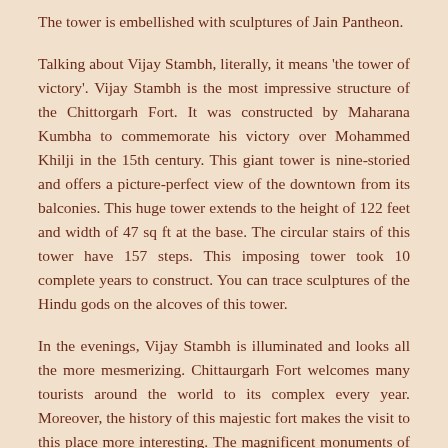The tower is embellished with sculptures of Jain Pantheon.
Talking about Vijay Stambh, literally, it means 'the tower of victory'. Vijay Stambh is the most impressive structure of the Chittorgarh Fort. It was constructed by Maharana Kumbha to commemorate his victory over Mohammed Khilji in the 15th century. This giant tower is nine-storied and offers a picture-perfect view of the downtown from its balconies. This huge tower extends to the height of 122 feet and width of 47 sq ft at the base. The circular stairs of this tower have 157 steps. This imposing tower took 10 complete years to construct. You can trace sculptures of the Hindu gods on the alcoves of this tower.
In the evenings, Vijay Stambh is illuminated and looks all the more mesmerizing. Chittaurgarh Fort welcomes many tourists around the world to its complex every year. Moreover, the history of this majestic fort makes the visit to this place more interesting. The magnificent monuments of this fort are definitely worth spending some time in seclusion pondering over the heroism of